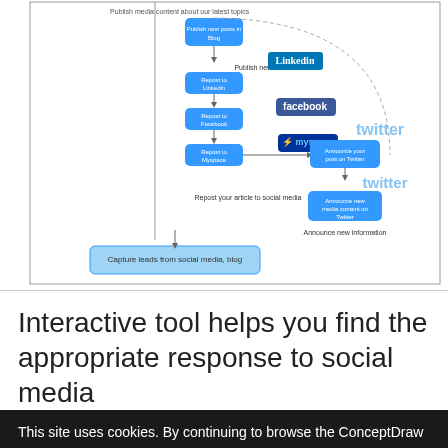[Figure (flowchart): A flowchart showing social media content publishing workflow with nodes for publishing news, reposting to LinkedIn, Facebook, MySpace, announcing on Twitter, and capturing leads from social media/blog. Includes branded logos for LinkedIn, Facebook, MySpace, and Twitter.]
Interactive tool helps you find the appropriate response to social media
This site uses cookies. By continuing to browse the ConceptDraw site you are agreeing to our Use of Site Cookies. OK